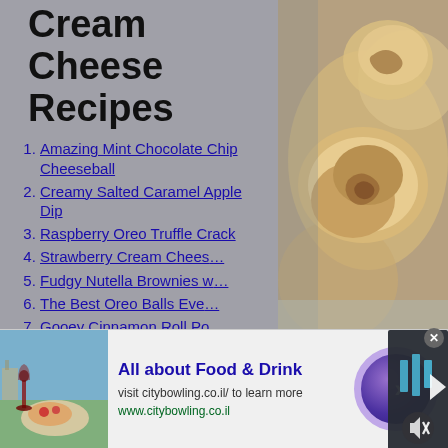Cream Cheese Recipes
Amazing Mint Chocolate Chip Cheeseball
Creamy Salted Caramel Apple Dip
Raspberry Oreo Truffle Crack
Strawberry Cream Chees...
Fudgy Nutella Brownies w...
The Best Oreo Balls Eve...
Gooey Cinnamon Roll Po...
Skinny Strawberry Chees...
Raspberry Pretzel Jello
Ridiculously Easy 3 Ingre...
[Figure (photo): Close-up photo of cream cheese pastries/rolls on a plate]
[Figure (screenshot): Dark video player overlay panel with play controls and mute button]
[Figure (photo): Advertisement image showing food and drink with wine glass]
All about Food & Drink
visit citybowling.co.il/ to learn more
www.citybowling.co.il